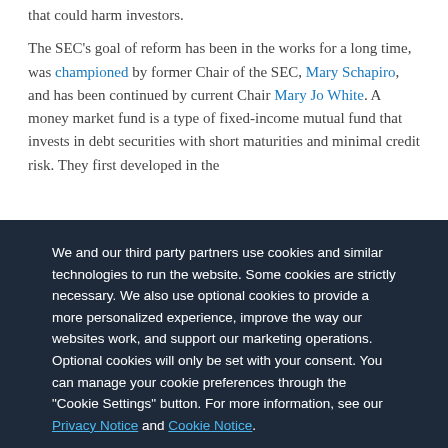that could harm investors. The SEC's goal of reform has been in the works for a long time, was championed by former Chair of the SEC, Mary Schapiro, and has been continued by current Chair Mary Jo White. A money market fund is a type of fixed-income mutual fund that invests in debt securities with short maturities and minimal credit risk. They first developed in the
We and our third party partners use cookies and similar technologies to run the website. Some cookies are strictly necessary. We also use optional cookies to provide a more personalized experience, improve the way our websites work, and support our marketing operations. Optional cookies will only be set with your consent. You can manage your cookie preferences through the "Cookie Settings" button. For more information, see our Privacy Notice and Cookie Notice.